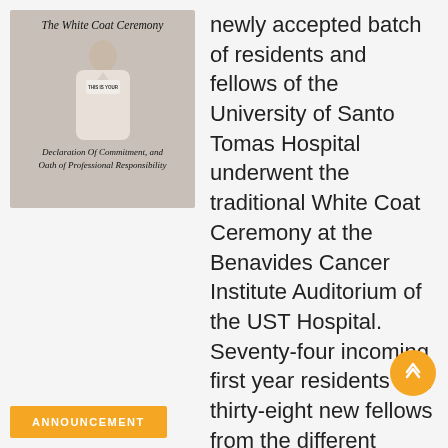[Figure (illustration): White Coat Ceremony booklet cover showing a person in a white coat with text 'The White Coat Ceremony – THIS IS YOUR Declaration Of Commitment, and Oath of Professional Responsibility']
newly accepted batch of residents and fellows of the University of Santo Tomas Hospital underwent the traditional White Coat Ceremony at the Benavides Cancer Institute Auditorium of the UST Hospital. Seventy-four incoming first year residents and thirty-eight new fellows from the different departments took to the stage to have their white coats worn to them by their respective mentors and training officers.
ANNOUNCEMENT